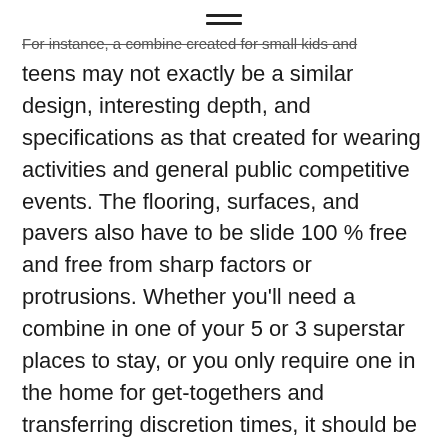≡
For instance, a combine created for small kids and teens may not exactly be a similar design, interesting depth, and specifications as that created for wearing activities and general public competitive events. The flooring, surfaces, and pavers also have to be slide 100 % free and free from sharp factors or protrusions. Whether you'll need a combine in one of your 5 or 3 superstar places to stay, or you only require one in the home for get-togethers and transferring discretion times, it should be professionally made out of safety in mind.d Drainage
Wellbeing is another key that some combine companies neglect to consider when making the structure. Generally, pools neglect to maintain a